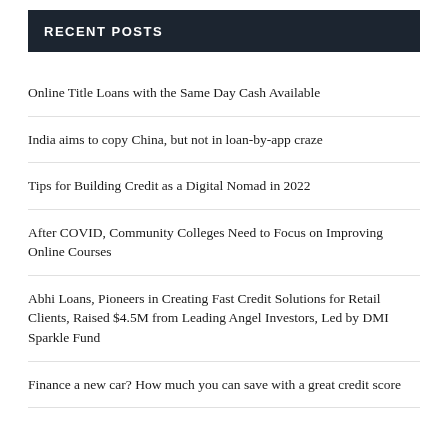RECENT POSTS
Online Title Loans with the Same Day Cash Available
India aims to copy China, but not in loan-by-app craze
Tips for Building Credit as a Digital Nomad in 2022
After COVID, Community Colleges Need to Focus on Improving Online Courses
Abhi Loans, Pioneers in Creating Fast Credit Solutions for Retail Clients, Raised $4.5M from Leading Angel Investors, Led by DMI Sparkle Fund
Finance a new car? How much you can save with a great credit score